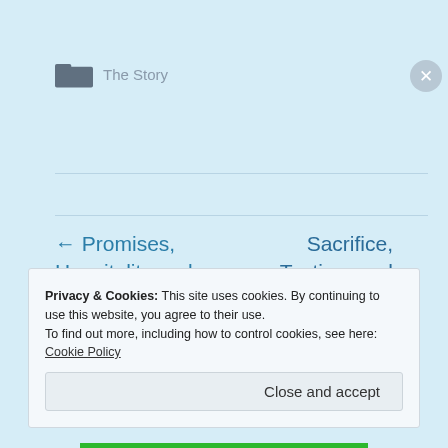The Story
← Promises, Hospitality and Obliteration
Sacrifice, Testing, and Reasoning →
Privacy & Cookies: This site uses cookies. By continuing to use this website, you agree to their use.
To find out more, including how to control cookies, see here: Cookie Policy
Close and accept